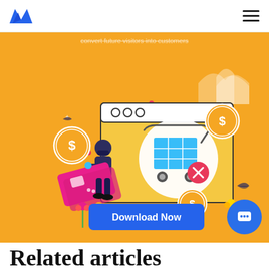[Logo] [Hamburger menu]
[Figure (illustration): Orange banner with e-commerce illustration: shopping cart with blue grid and red X button, figure carrying pink credit card, dollar coin icons, flowers, browser window mockup with three circles. Blue 'Download Now' button at bottom center. Faint strikethrough text 'convert future visitors into customers' at top.]
Related articles